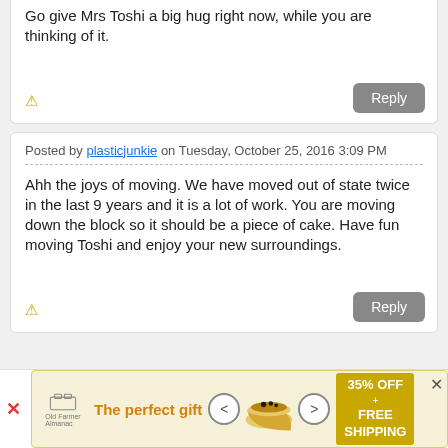Go give Mrs Toshi a big hug right now, while you are thinking of it.
Posted by plasticjunkie on Tuesday, October 25, 2016 3:09 PM
Ahh the joys of moving. We have moved out of state twice in the last 9 years and it is a lot of work. You are moving down the block so it should be a piece of cake. Have fun moving Toshi and enjoy your new surroundings.
[Figure (infographic): Advertisement banner: The perfect gift - 35% OFF + FREE SHIPPING with bowl product image and navigation arrows]